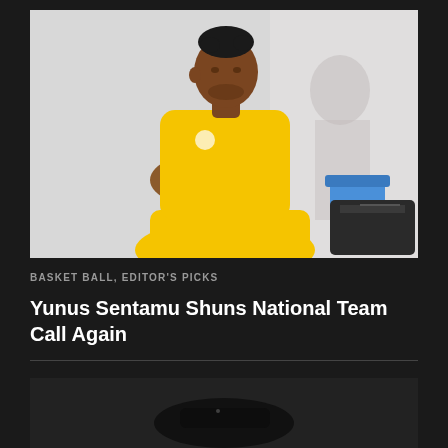[Figure (photo): Man in yellow sportswear sitting with arms crossed on a stadium bench, with a blue chair and black bag visible in the background]
BASKET BALL, EDITOR'S PICKS
Yunus Sentamu Shuns National Team Call Again
[Figure (photo): Partial view of a dark object, possibly sports equipment or a camera, on a dark background]